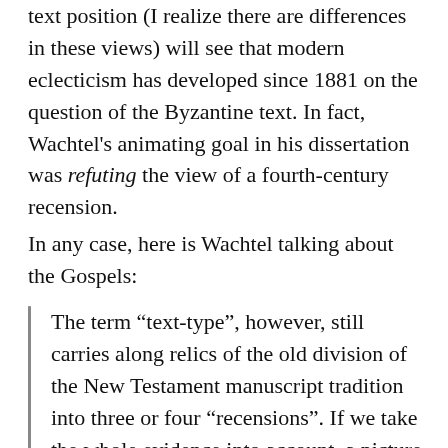text position (I realize there are differences in these views) will see that modern eclecticism has developed since 1881 on the question of the Byzantine text. In fact, Wachtel’s animating goal in his dissertation was refuting the view of a fourth-century recension.
In any case, here is Wachtel talking about the Gospels:
The term “text-type”, however, still carries along relics of the old division of the New Testament manuscript tradition into three or four “recensions”. If we take the whole evidence into account, a picture emerges that is far more complex. The external criteria applied when variants are assessed have to be re-defined accordingly. To this end we have